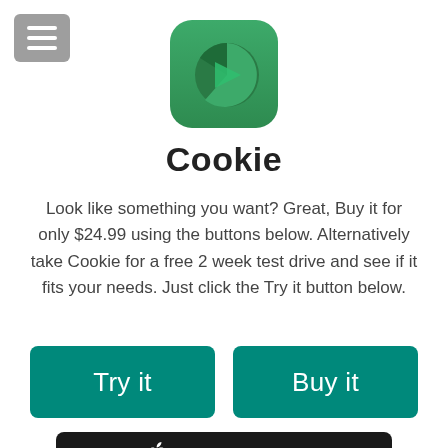[Figure (logo): Hamburger menu icon button — grey rounded rectangle with three white horizontal lines]
[Figure (logo): Cookie app icon — green rounded square with a pie-chart style graphic showing a dark green wedge on a lighter green background]
Cookie
Look like something you want? Great, Buy it for only $24.99 using the buttons below. Alternatively take Cookie for a free 2 week test drive and see if it fits your needs. Just click the Try it button below.
[Figure (other): Teal button labeled 'Try it']
[Figure (other): Teal button labeled 'Buy it']
[Figure (other): Black App Store download banner with Apple logo and text 'Download on the']